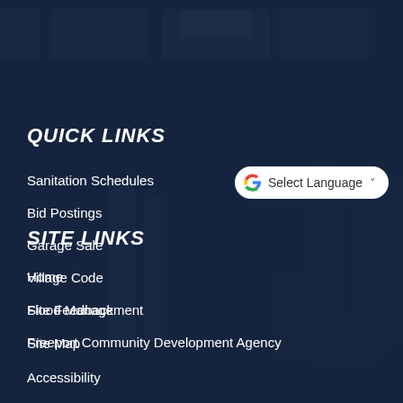QUICK LINKS
Sanitation Schedules
Bid Postings
Garage Sale
Village Code
Flood Management
Freeport Community Development Agency
[Figure (other): Google Translate widget button with 'Select Language' label and dropdown arrow]
SITE LINKS
Home
Site Feedback
Site Map
Accessibility